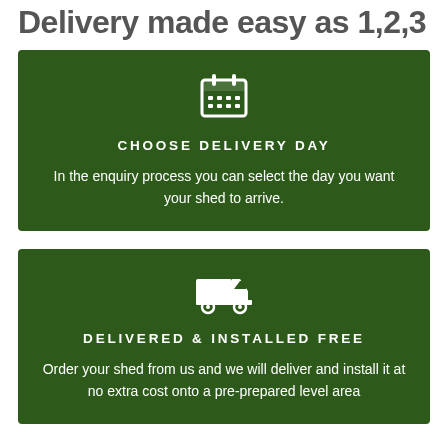Delivery made easy as 1,2,3
[Figure (infographic): Green card with calendar icon, heading CHOOSE DELIVERY DAY, and descriptive text about selecting delivery day in the enquiry process.]
[Figure (infographic): Green card with delivery truck icon, heading DELIVERED & INSTALLED FREE, and descriptive text about ordering a shed for free delivery and installation.]